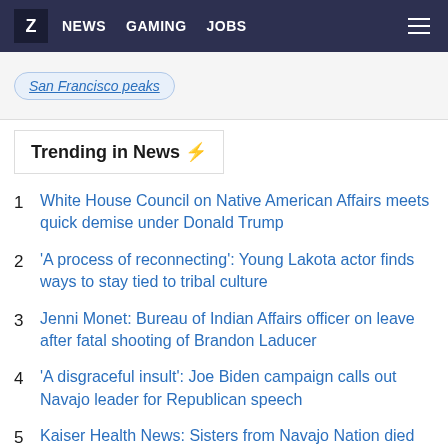Z NEWS GAMING JOBS
San Francisco peaks
Trending in News ⚡
1 White House Council on Native American Affairs meets quick demise under Donald Trump
2 'A process of reconnecting': Young Lakota actor finds ways to stay tied to tribal culture
3 Jenni Monet: Bureau of Indian Affairs officer on leave after fatal shooting of Brandon Laducer
4 'A disgraceful insult': Joe Biden campaign calls out Navajo leader for Republican speech
5 Kaiser Health News: Sisters from Navajo Nation died after helping coronavirus patients